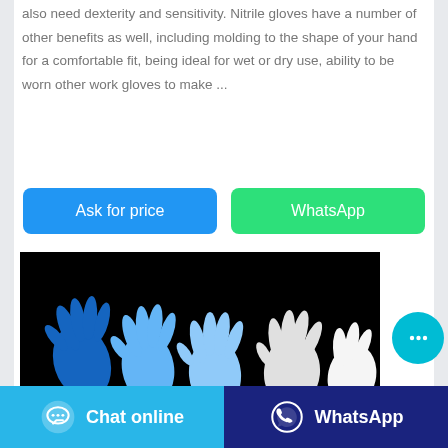also need dexterity and sensitivity. Nitrile gloves have a number of other benefits as well, including molding to the shape of your hand for a comfortable fit, being ideal for wet or dry use, ability to be worn other work gloves to make ...
[Figure (other): Two buttons: 'Ask for price' (blue) and 'WhatsApp' (green)]
[Figure (photo): Product photo of multiple nitrile gloves (blue and white) displayed against a black background]
Chat online   WhatsApp